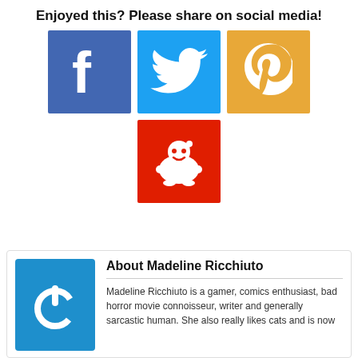Enjoyed this? Please share on social media!
[Figure (infographic): Social media sharing icons: Facebook (blue), Twitter (light blue), Pinterest (orange/yellow), Reddit (red)]
About Madeline Ricchiuto
Madeline Ricchiuto is a gamer, comics enthusiast, bad horror movie connoisseur, writer and generally sarcastic human. She also really likes cats and is now